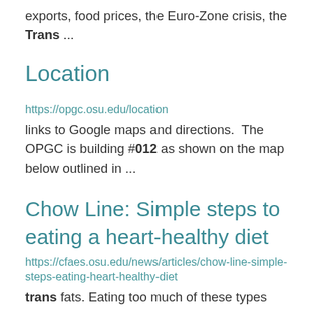exports, food prices, the Euro-Zone crisis, the Trans ...
Location
https://opgc.osu.edu/location
links to Google maps and directions. The OPGC is building #012 as shown on the map below outlined in ...
Chow Line: Simple steps to eating a heart-healthy diet
https://cfaes.osu.edu/news/articles/chow-line-simple-steps-eating-heart-healthy-diet
trans fats. Eating too much of these types